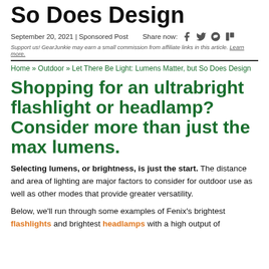So Does Design
September 20, 2021 | Sponsored Post   Share now:
Support us! GearJunkie may earn a small commission from affiliate links in this article. Learn more.
Home » Outdoor » Let There Be Light: Lumens Matter, but So Does Design
Shopping for an ultrabright flashlight or headlamp? Consider more than just the max lumens.
Selecting lumens, or brightness, is just the start. The distance and area of lighting are major factors to consider for outdoor use as well as other modes that provide greater versatility.
Below, we'll run through some examples of Fenix's brightest flashlights and brightest headlamps with a high output of